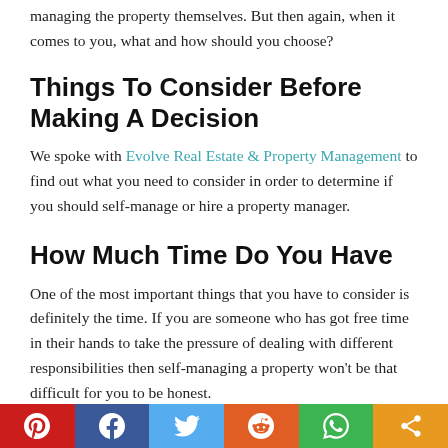managing the property themselves. But then again, when it comes to you, what and how should you choose?
Things To Consider Before Making A Decision
We spoke with Evolve Real Estate & Property Management to find out what you need to consider in order to determine if you should self-manage or hire a property manager.
How Much Time Do You Have
One of the most important things that you have to consider is definitely the time. If you are someone who has got free time in their hands to take the pressure of dealing with different responsibilities then self-managing a property won't be that difficult for you to be honest.
Are you sure you are up for that challenge, people? If so, then managing a rental property yourself won't be such a big deal for you.
[Figure (other): Social share bar with Pinterest, Facebook, Twitter, Reddit, WhatsApp, and share buttons]